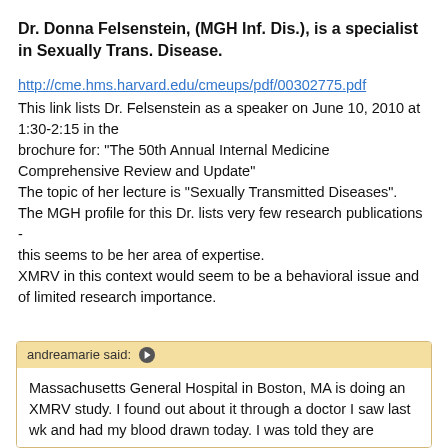Dr. Donna Felsenstein, (MGH Inf. Dis.), is a specialist in Sexually Trans. Disease.
http://cme.hms.harvard.edu/cmeups/pdf/00302775.pdf
This link lists Dr. Felsenstein as a speaker on June 10, 2010 at 1:30-2:15 in the brochure for: "The 50th Annual Internal Medicine Comprehensive Review and Update"
The topic of her lecture is "Sexually Transmitted Diseases".
The MGH profile for this Dr. lists very few research publications -
this seems to be her area of expertise.
XMRV in this context would seem to be a behavioral issue and of limited research importance.
andreamarie said:
Massachusetts General Hospital in Boston, MA is doing an XMRV study. I found out about it through a doctor I saw last wk and had my blood drawn today. I was told they are